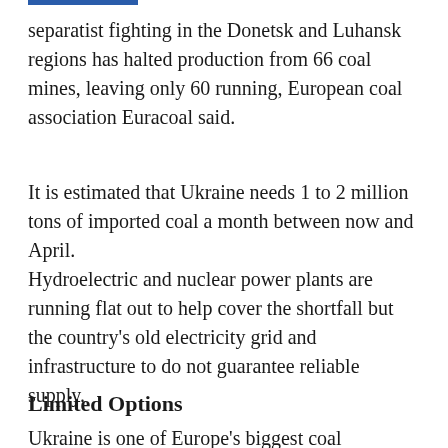separatist fighting in the Donetsk and Luhansk regions has halted production from 66 coal mines, leaving only 60 running, European coal association Euracoal said.
It is estimated that Ukraine needs 1 to 2 million tons of imported coal a month between now and April.
Hydroelectric and nuclear power plants are running flat out to help cover the shortfall but the country's old electricity grid and infrastructure to do not guarantee reliable supply.
Limited Options
Ukraine is one of Europe's biggest coal producers